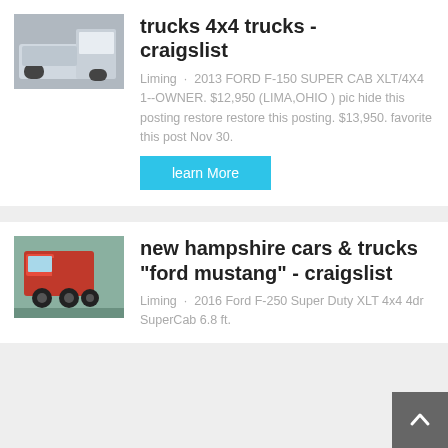[Figure (photo): Front view of a white truck cab]
trucks  4x4 trucks  -  craigslist
Liming · 2013 FORD F-150 SUPER CAB XLT/4X4 1--OWNER. $12,950 (LIMA,OHIO ) pic hide this posting restore restore this posting. $13,950. favorite this post Nov 30.
[Figure (other): Learn More button]
[Figure (photo): Red semi truck viewed from rear-side in a parking lot]
new hampshire cars & trucks "ford mustang" - craigslist
Liming · 2016 Ford F-250 Super Duty XLT 4x4 4dr SuperCab 6.8 ft.